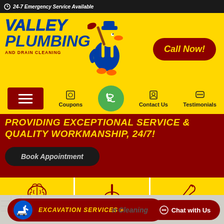24-7 Emergency Service Available
[Figure (logo): Valley Plumbing and Drain Cleaning logo with duck mascot holding a plunger]
Call Now!
Coupons
Contact Us
Testimonials
PROVIDING EXCEPTIONAL SERVICE & QUALITY WORKMANSHIP, 24/7!
Book Appointment
Customer Education
No Mess
Experienced Plumbing Team
EXCAVATION SERVICES »
Chat with Us